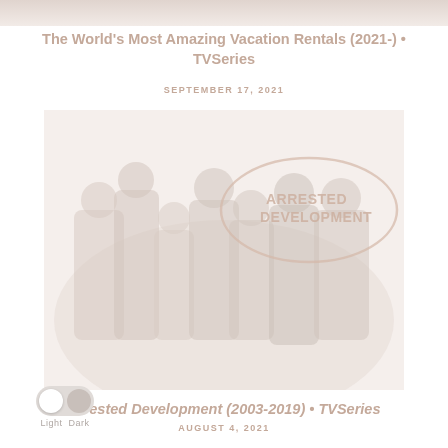[Figure (photo): Top strip of a photo, faded/washed out, appears to be a vacation rental scene]
The World's Most Amazing Vacation Rentals (2021-) • TVSeries
SEPTEMBER 17, 2021
[Figure (photo): Cast photo of Arrested Development TV show with the show's logo in a speech bubble in the upper right]
Arrested Development (2003-2019) • TVSeries
AUGUST 4, 2021
[Figure (illustration): Light/Dark mode toggle widget with pill toggle and label reading Light Dark]